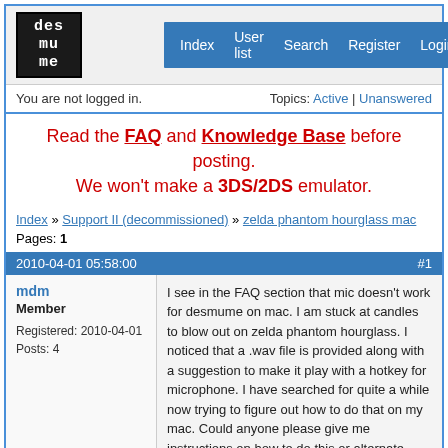[Figure (logo): DeSmuME logo - pixelated game-style text logo in black and white]
Index | User list | Search | Register | Login
You are not logged in.
Topics: Active | Unanswered
Read the FAQ and Knowledge Base before posting.
We won't make a 3DS/2DS emulator.
Index » Support II (decommissioned) » zelda phantom hourglass mac
Pages: 1
2010-04-01 05:58:00  #1
mdm
Member
Registered: 2010-04-01
Posts: 4
I see in the FAQ section that mic doesn't work for desmume on mac. I am stuck at candles to blow out on zelda phantom hourglass. I noticed that a .wav file is provided along with a suggestion to make it play with a hotkey for microphone. I have searched for quite a while now trying to figure out how to do that on my mac. Could anyone please give me instructions on how to do this or alternate instructions on how to blow out the 5 candles (I can't use microphone on mac).